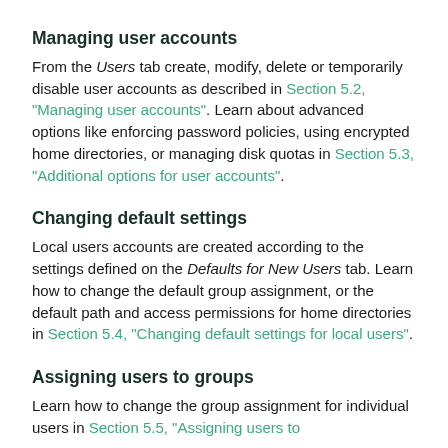Managing user accounts
From the Users tab create, modify, delete or temporarily disable user accounts as described in Section 5.2, "Managing user accounts". Learn about advanced options like enforcing password policies, using encrypted home directories, or managing disk quotas in Section 5.3, "Additional options for user accounts".
Changing default settings
Local users accounts are created according to the settings defined on the Defaults for New Users tab. Learn how to change the default group assignment, or the default path and access permissions for home directories in Section 5.4, "Changing default settings for local users".
Assigning users to groups
Learn how to change the group assignment for individual users in Section 5.5, "Assigning users to